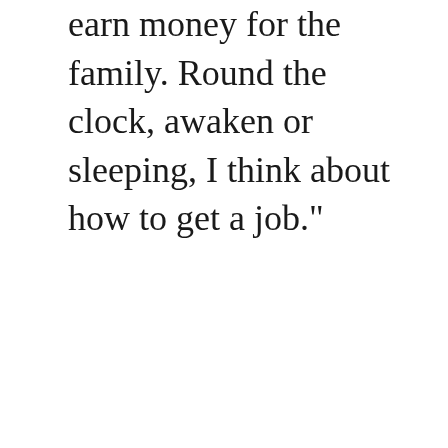earn money for the family. Round the clock, awaken or sleeping, I think about how to get a job."